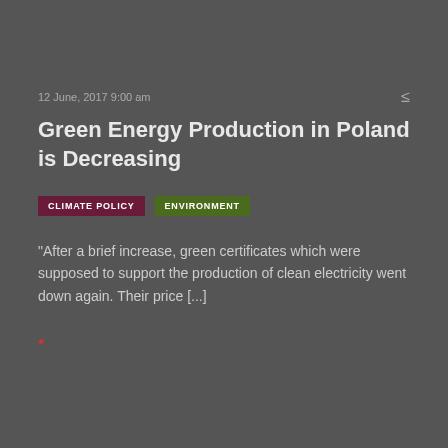12 June, 2017 9:00 am
Green Energy Production in Poland is Decreasing
CLIMATE POLICY
ENVIRONMENT
"After a brief increase, green certificates which were supposed to support the production of clean electricity went down again. Their price [...]
•